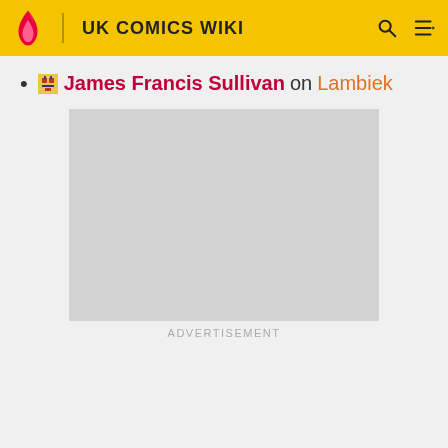UK COMICS WIKI
James Francis Sullivan on Lambiek
[Figure (other): Advertisement placeholder box (light grey rectangle)]
ADVERTISEMENT